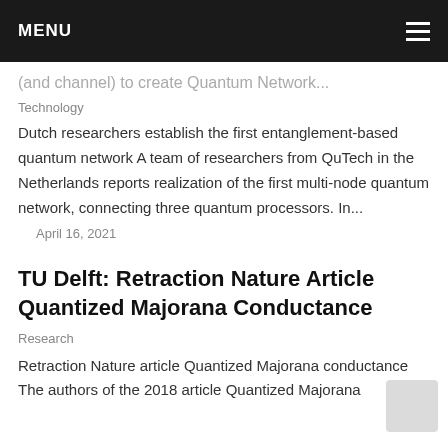MENU
(and channel) to create Quantum Network...
Technology
Dutch researchers establish the first entanglement-based quantum network A team of researchers from QuTech in the Netherlands reports realization of the first multi-node quantum network, connecting three quantum processors. In...
April 16, 2021
TU Delft: Retraction Nature Article Quantized Majorana Conductance
Research
Retraction Nature article Quantized Majorana conductance The authors of the 2018 article Quantized Majorana